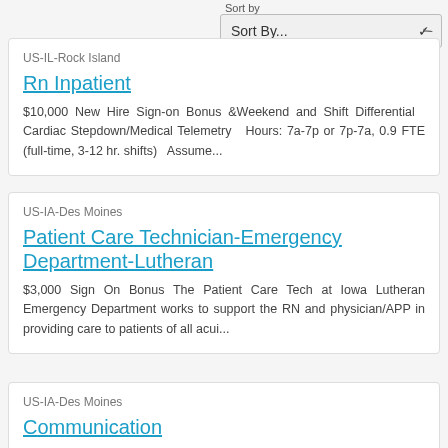Sort by
Sort By...
US-IL-Rock Island
Rn Inpatient
$10,000 New Hire Sign-on Bonus &Weekend and Shift Differential  Cardiac Stepdown/Medical Telemetry  Hours: 7a-7p or 7p-7a, 0.9 FTE (full-time, 3-12 hr. shifts)  Assume...
US-IA-Des Moines
Patient Care Technician-Emergency Department-Lutheran
$3,000 Sign On Bonus The Patient Care Tech at Iowa Lutheran Emergency Department works to support the RN and physician/APP in providing care to patients of all acui...
US-IA-Des Moines
Communication Assistant Pediatric